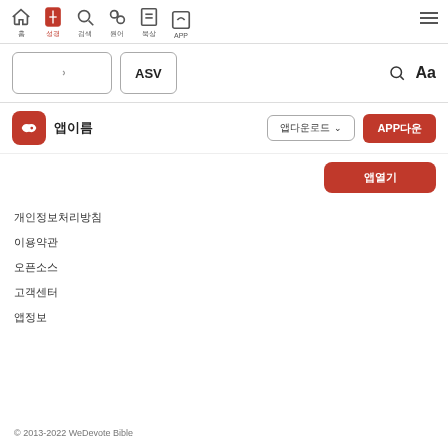Navigation bar with home, bible, search, concordance, notes, APP icons and hamburger menu
ASV
[Figure (screenshot): Bible app logo with fish symbol in red square]
앱이름
앱다운로드
앱열기
개인정보처리방침
이용약관
오픈소스
고객센터
앱정보
© 2013-2022 WeDevote Bible